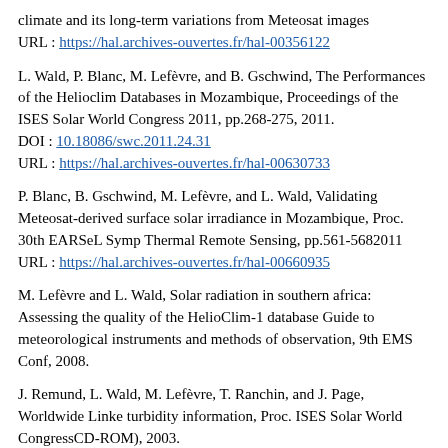climate and its long-term variations from Meteosat images
URL : https://hal.archives-ouvertes.fr/hal-00356122
L. Wald, P. Blanc, M. Lefèvre, and B. Gschwind, The Performances of the Helioclim Databases in Mozambique, Proceedings of the ISES Solar World Congress 2011, pp.268-275, 2011.
DOI : 10.18086/swc.2011.24.31
URL : https://hal.archives-ouvertes.fr/hal-00630733
P. Blanc, B. Gschwind, M. Lefèvre, and L. Wald, Validating Meteosat-derived surface solar irradiance in Mozambique, Proc. 30th EARSeL Symp Thermal Remote Sensing, pp.561-5682011
URL : https://hal.archives-ouvertes.fr/hal-00660935
M. Lefèvre and L. Wald, Solar radiation in southern africa: Assessing the quality of the HelioClim-1 database Guide to meteorological instruments and methods of observation, 9th EMS Conf, 2008.
J. Remund, L. Wald, M. Lefèvre, T. Ranchin, and J. Page, Worldwide Linke turbidity information, Proc. ISES Solar World CongressCD-ROM), 2003.
URL : https://hal.archives-ouvertes.fr/hal-00465791
M. Lefèvre, L. Nard, F. Wald, C. Hoyer-klick, M. Schroedter...